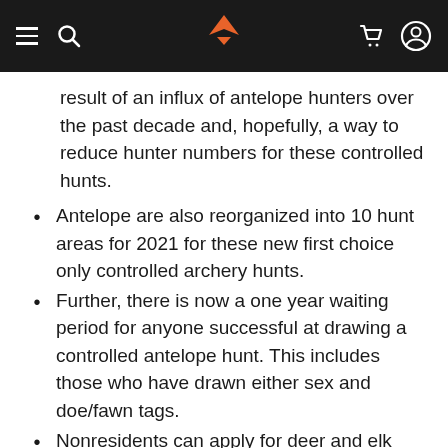Navigation bar with menu, search, logo, cart, and user account icons
result of an influx of antelope hunters over the past decade and, hopefully, a way to reduce hunter numbers for these controlled hunts.
Antelope are also reorganized into 10 hunt areas for 2021 for these new first choice only controlled archery hunts.
Further, there is now a one year waiting period for anyone successful at drawing a controlled antelope hunt. This includes those who have drawn either sex and doe/fawn tags.
Nonresidents can apply for deer and elk controlled hunts even though over-the-counter deer and elk tags are sold out